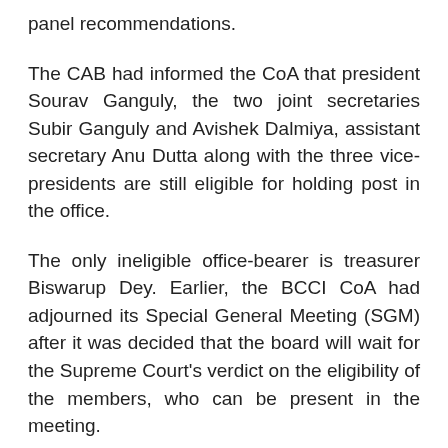panel recommendations.
The CAB had informed the CoA that president Sourav Ganguly, the two joint secretaries Subir Ganguly and Avishek Dalmiya, assistant secretary Anu Dutta along with the three vice-presidents are still eligible for holding post in the office.
The only ineligible office-bearer is treasurer Biswarup Dey. Earlier, the BCCI CoA had adjourned its Special General Meeting (SGM) after it was decided that the board will wait for the Supreme Court's verdict on the eligibility of the members, who can be present in the meeting.